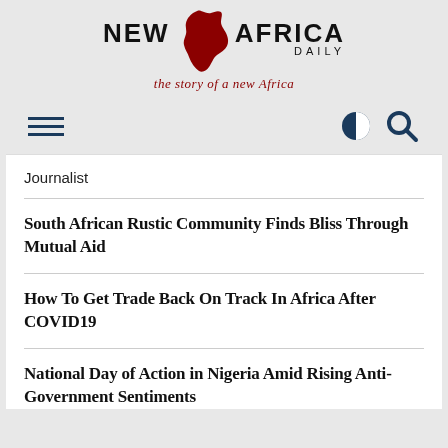[Figure (logo): New Africa Daily logo with Africa map icon in dark red and tagline 'the story of a new Africa' in red italic]
Journalist
South African Rustic Community Finds Bliss Through Mutual Aid
How To Get Trade Back On Track In Africa After COVID19
National Day of Action in Nigeria Amid Rising Anti-Government Sentiments